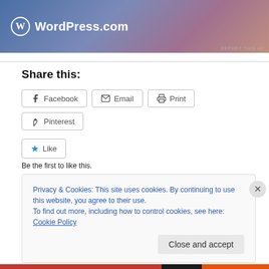[Figure (screenshot): WordPress.com advertisement banner with gradient background (blue to mauve) and WordPress logo]
REPORT THIS AD
Share this:
[Figure (screenshot): Share buttons row: Facebook, Email, Print, Pinterest]
[Figure (screenshot): Like button with blue star icon]
Be the first to like this.
Privacy & Cookies: This site uses cookies. By continuing to use this website, you agree to their use.
To find out more, including how to control cookies, see here: Cookie Policy
Close and accept